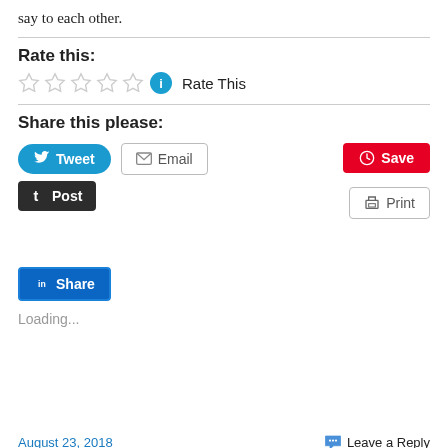say to each other.
Rate this:
[Figure (other): Five empty star rating icons followed by an info icon and 'Rate This' text]
Share this please:
[Figure (other): Social sharing buttons: Tweet, Email, Post, Save, Print, Share]
Loading...
August 23, 2018    Leave a Reply